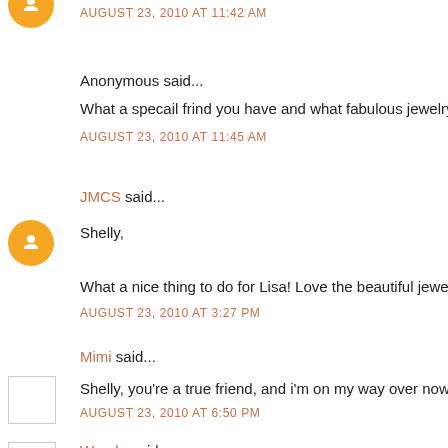AUGUST 23, 2010 AT 11:42 AM
Anonymous said...
What a specail frind you have and what fabulous jewelry!
AUGUST 23, 2010 AT 11:45 AM
JMCS said...
Shelly,
What a nice thing to do for Lisa! Love the beautiful jewelr
AUGUST 23, 2010 AT 3:27 PM
Mimi said...
Shelly, you're a true friend, and i'm on my way over now t
AUGUST 23, 2010 AT 6:50 PM
Wanda said...